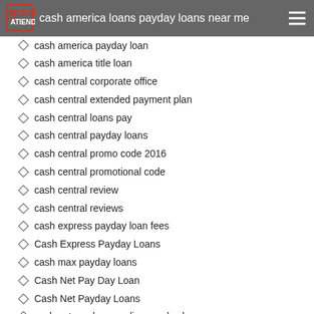cash america loans payday loans near me
cash america payday loan
cash america title loan
cash central corporate office
cash central extended payment plan
cash central loans pay
cash central payday loans
cash central promo code 2016
cash central promotional code
cash central review
cash central reviews
cash express payday loan fees
Cash Express Payday Loans
cash max payday loans
Cash Net Pay Day Loan
Cash Net Payday Loans
cash net usa loans online payday loan